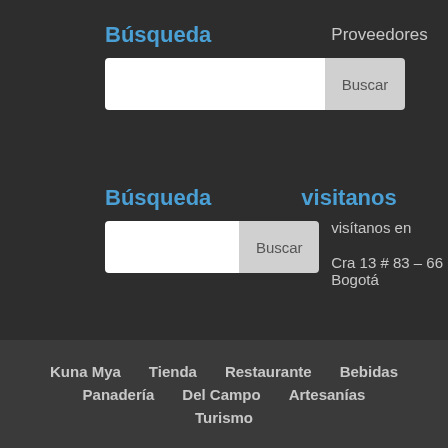Búsqueda
Proveedores
[Figure (screenshot): Search input bar with Buscar button (top)]
Búsqueda
visitanos
[Figure (screenshot): Search input bar with Buscar button (bottom)]
visítanos en
Cra 13 # 83 – 66 Bogotá
Kuna Mya
Tienda
Restaurante
Bebidas
Panadería
Del Campo
Artesanías
Turismo